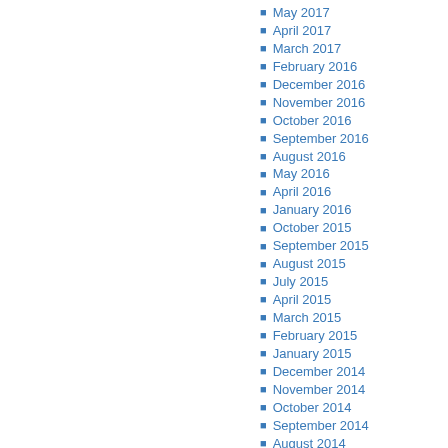May 2017
April 2017
March 2017
February 2016
December 2016
November 2016
October 2016
September 2016
August 2016
May 2016
April 2016
January 2016
October 2015
September 2015
August 2015
July 2015
April 2015
March 2015
February 2015
January 2015
December 2014
November 2014
October 2014
September 2014
August 2014